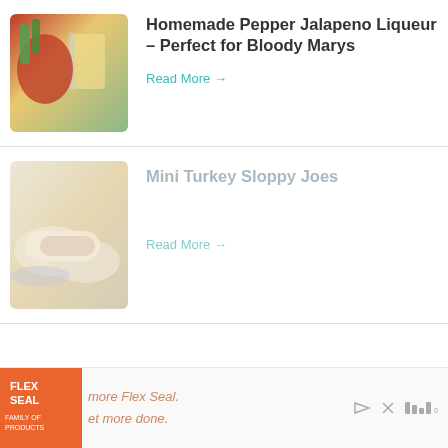[Figure (photo): Photo of jalapeno peppers, vegetables, and a glass jar with yellow liquid (liqueur), with a Pernod bottle in background]
Homemade Pepper Jalapeno Liqueur – Perfect for Bloody Marys
Read More →
[Figure (photo): Photo of mini sloppy joe sandwiches on a plate, slightly faded/transparent]
Mini Turkey Sloppy Joes
Read More →
[Figure (other): Flex Seal Family of Products advertisement banner at bottom of page]